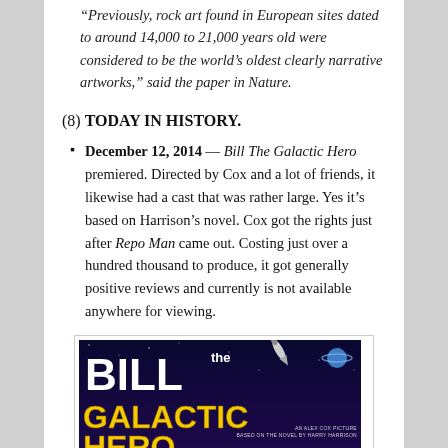“Previously, rock art found in European sites dated to around 14,000 to 21,000 years old were considered to be the world’s oldest clearly narrative artworks,” said the paper in Nature.
(8) TODAY IN HISTORY.
December 12, 2014 — Bill The Galactic Hero premiered. Directed by Cox and a lot of friends, it likewise had a cast that was rather large. Yes it’s based on Harrison’s novel. Cox got the rights just after Repo Man came out. Costing just over a hundred thousand to produce, it got generally positive reviews and currently is not available anywhere for viewing.
[Figure (photo): Movie poster for Bill the Galactic Hero, an Alex Cox picture based on the novel by Harry Harrison. Dark space background with large white BILL text, orange/yellow GALACTIC HERO text, and a figure in a helmet at the bottom.]